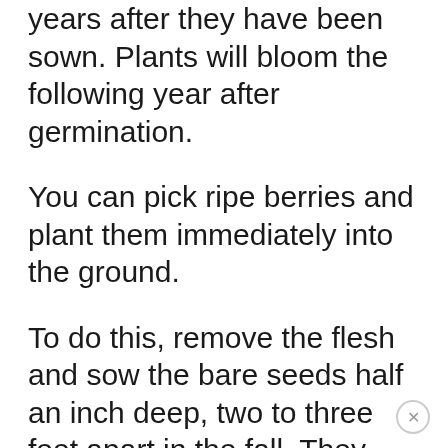years after they have been sown. Plants will bloom the following year after germination.
You can pick ripe berries and plant them immediately into the ground.
To do this, remove the flesh and sow the bare seeds half an inch deep, two to three feet apart in the fall. They require two periods of cold stratification for successful germination, which will happen naturally outdoors over the winter months.